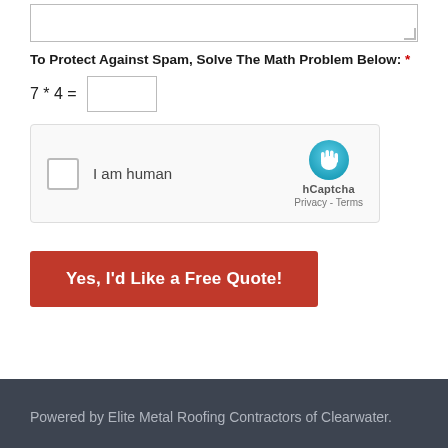To Protect Against Spam, Solve The Math Problem Below: *
[Figure (other): hCaptcha widget with checkbox labeled 'I am human' and hCaptcha logo with Privacy - Terms links]
Yes, I'd Like a Free Quote!
Powered by Elite Metal Roofing Contractors of Clearwater.